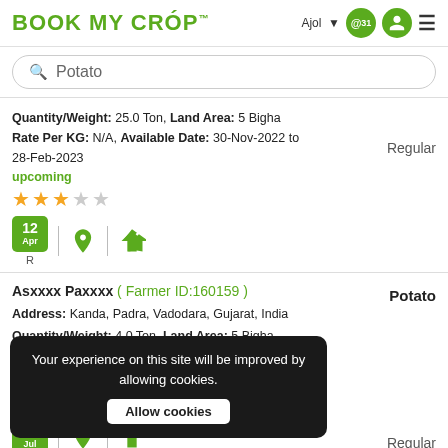BOOK MY CROP™ — Ajol | user icon | menu
Potato (search query)
Quantity/Weight: 25.0 Ton, Land Area: 5 Bigha
Rate Per KG: N/A, Available Date: 30-Nov-2022 to 28-Feb-2023
upcoming
★★★☆☆
12 Apr | R
Regular
Asxxxx Paxxxx ( Farmer ID:160159 )
Address: Kanda, Padra, Vadodara, Gujarat, India
Quantity/Weight: 4.0 Ton, Land Area: 5 Bigha
Rate Per KG: N/A, Available Date: 14-Oct-2022 to 12-Jan-2023
Potato
Regular
05 Jul
Your experience on this site will be improved by allowing cookies. Allow cookies